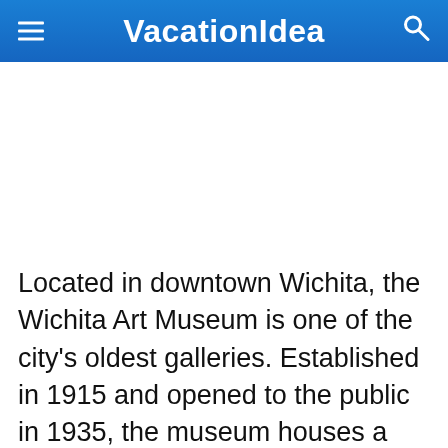VacationIdea
[Figure (other): White blank image area placeholder]
Located in downtown Wichita, the Wichita Art Museum is one of the city's oldest galleries. Established in 1915 and opened to the public in 1935, the museum houses a variety of exhibitions and collections that feature primarily American based artists in numerous